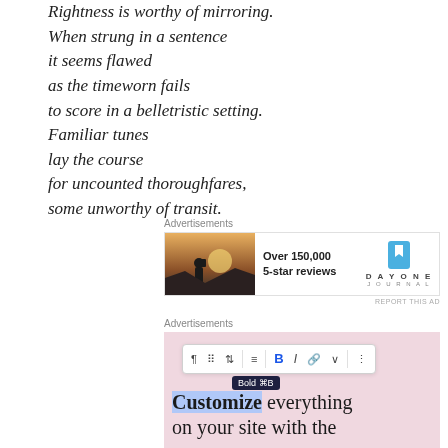Rightness is worthy of mirroring.
When strung in a sentence
it seems flawed
as the timeworn fails
to score in a belletristic setting.
Familiar tunes
lay the course
for uncounted thoroughfares,
some unworthy of transit.
[Figure (infographic): Advertisement for DayOne Journal app. Shows a photo of a person looking at sunset, text 'Over 150,000 5-star reviews', and DayOne Journal logo with bookmark icon.]
[Figure (screenshot): Advertisement showing a WordPress/website editor screenshot with a toolbar, Bold tooltip, and text 'Customize everything on your site with the Site Edit...' on a pink background.]